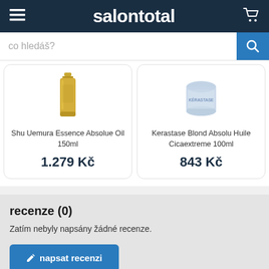salontotal
[Figure (screenshot): Search bar with placeholder text 'co hledáš?' and blue search button]
[Figure (photo): Shu Uemura Essence Absolue Oil 150ml product bottle (gold)]
Shu Uemura Essence Absolue Oil 150ml
1.279 Kč
[Figure (photo): Kerastase Blond Absolu Huile Cicaextreme 100ml product jar (light blue)]
Kerastase Blond Absolu Huile Cicaextreme 100ml
843 Kč
recenze (0)
Zatím nebyly napsány žádné recenze.
napsat recenzi